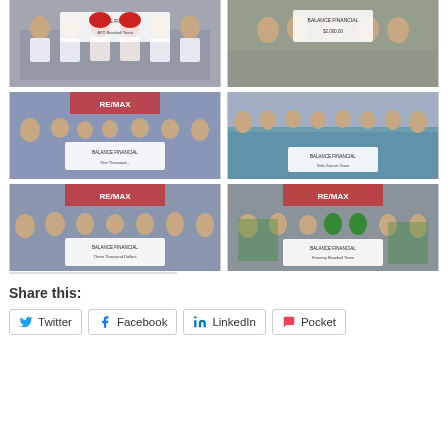[Figure (photo): Group of youth baseball players in APO uniforms kneeling and standing, holding a large check from a real estate company]
[Figure (photo): Group of people standing outdoors holding a large check from a real estate/insurance company]
[Figure (photo): Group of children and adults outside a RE/MAX office holding a large check]
[Figure (photo): Large group of youth girls in teal/blue uniforms with adults holding a large check outside a building]
[Figure (photo): Group of adults and children outside a RE/MAX office holding a large check]
[Figure (photo): Group of children and adults in green shirts outside a RE/MAX office holding a large check]
Share this:
Twitter
Facebook
LinkedIn
Pocket